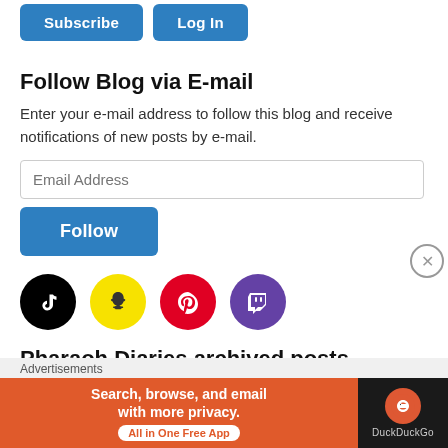[Figure (screenshot): Two blue buttons: Subscribe and Log In at the top of the page]
Follow Blog via E-mail
Enter your e-mail address to follow this blog and receive notifications of new posts by e-mail.
Email Address (input field)
Follow (button)
[Figure (illustration): Four social media icons: TikTok (black), Snapchat (yellow), Pinterest (red), Twitch (purple)]
Pharaoh Diaries archived posts
Select Month (dropdown)
Advertisements
[Figure (screenshot): DuckDuckGo ad banner: Search, browse, and email with more privacy. All in One Free App]